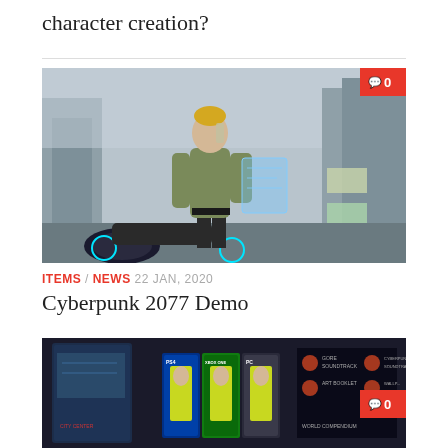character creation?
[Figure (photo): Cyberpunk 2077 character standing in a futuristic city, wearing a tactical jacket, with a holographic display. Comment badge showing 0 comments.]
ITEMS / NEWS  22 JAN, 2020
Cyberpunk 2077 Demo
[Figure (photo): Cyberpunk 2077 collector's edition box set showing game cases for PS4, Xbox, and PC along with bonus content items. Comment badge showing 0 comments.]